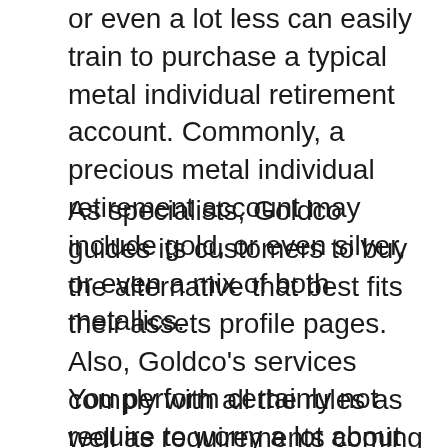or even a lot less can easily train to purchase a typical metal individual retirement account. Commonly, a precious metal individual retirement account may include gold, or even silver, or even a mix of both metallics.
As specialists, Goldco guides its customers to buy the alternative that best fits their assets profile pages. Also, Goldco's services comply with all the rules as well as requirements coming from the IRS.
You perform certainly not require to worry a lot about the safety and security of your bodily resources; Goldco has partnered along with third-party protective firms to hoard clients' gold and silvers in ultra-modern